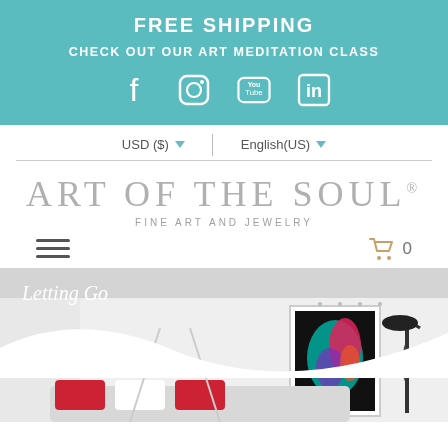FREE SHIPPING
CHECK OUT OUR ART MEDITATION CLASS
[Figure (illustration): Social media icons: Facebook, Instagram, YouTube, LinkedIn]
USD ($) ▼   |   English(US) ▼
ART OF THE SOUL® FINE ART AND JEWELRY
[Figure (illustration): Hamburger menu icon (three horizontal lines) and shopping cart icon with 0]
Letting Go
[Figure (photo): Room interior scene with framed colorful artwork on wall, floor lamp, and furniture with red pillows]